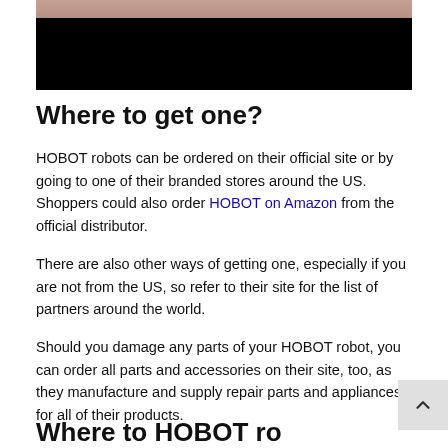[Figure (photo): Partial photo of people at top, partially obscured by black bar]
Where to get one?
HOBOT robots can be ordered on their official site or by going to one of their branded stores around the US. Shoppers could also order HOBOT on Amazon from the official distributor.
There are also other ways of getting one, especially if you are not from the US, so refer to their site for the list of partners around the world.
Should you damage any parts of your HOBOT robot, you can order all parts and accessories on their site, too, as they manufacture and supply repair parts and appliances for all of their products.
Where to HOBOT robot?